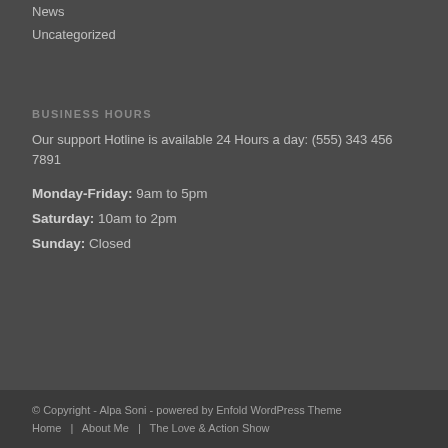News
Uncategorized
BUSINESS HOURS
Our support Hotline is available 24 Hours a day: (555) 343 456 7891
Monday-Friday: 9am to 5pm
Saturday: 10am to 2pm
Sunday: Closed
© Copyright - Alpa Soni - powered by Enfold WordPress Theme
Home | About Me | The Love & Action Show